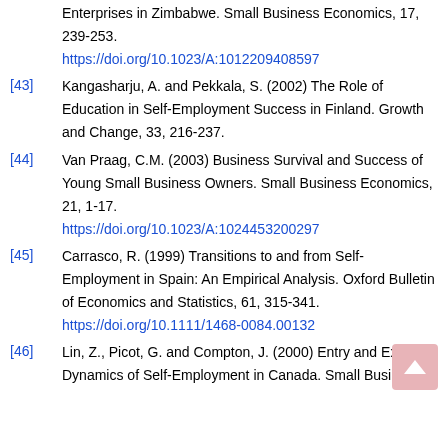Enterprises in Zimbabwe. Small Business Economics, 17, 239-253. https://doi.org/10.1023/A:1012209408597
[43] Kangasharju, A. and Pekkala, S. (2002) The Role of Education in Self-Employment Success in Finland. Growth and Change, 33, 216-237.
[44] Van Praag, C.M. (2003) Business Survival and Success of Young Small Business Owners. Small Business Economics, 21, 1-17. https://doi.org/10.1023/A:1024453200297
[45] Carrasco, R. (1999) Transitions to and from Self-Employment in Spain: An Empirical Analysis. Oxford Bulletin of Economics and Statistics, 61, 315-341. https://doi.org/10.1111/1468-0084.00132
[46] Lin, Z., Picot, G. and Compton, J. (2000) Entry and Exit Dynamics of Self-Employment in Canada. Small Business...